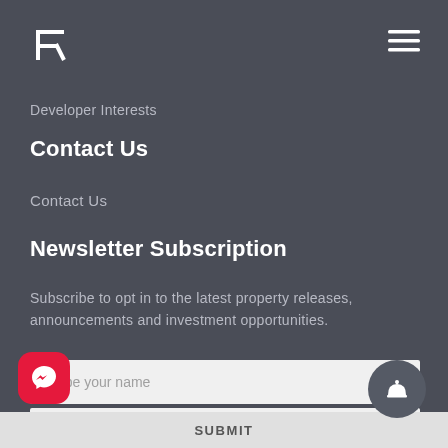[Figure (logo): Stylized R logo in white on dark background]
[Figure (other): Hamburger menu icon (three horizontal lines) in white, top right]
Developer Interests
Contact Us
Contact Us
Newsletter Subscription
Subscribe to opt in to the latest property releases, announcements and investment opportunities.
Type your name
Type your email
SUBMIT
[Figure (logo): Facebook Messenger button, red rounded square with white lightning bolt icon]
[Figure (other): Dark grey circular concierge/bell icon button]